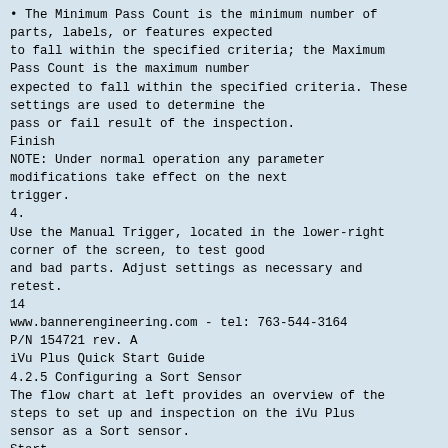• The Minimum Pass Count is the minimum number of parts, labels, or features expected to fall within the specified criteria; the Maximum Pass Count is the maximum number expected to fall within the specified criteria. These settings are used to determine the pass or fail result of the inspection.
Finish
NOTE: Under normal operation any parameter modifications take effect on the next trigger.
4.
Use the Manual Trigger, located in the lower-right corner of the screen, to test good and bad parts. Adjust settings as necessary and retest.
14
www.bannerengineering.com - tel: 763-544-3164
P/N 154721 rev. A
iVu Plus Quick Start Guide
4.2.5 Configuring a Sort Sensor
The flow chart at left provides an overview of the steps to set up and inspection on the iVu Plus sensor as a Sort sensor.
Start
Select ROI Type and
Adjust
1. Make sure you use good parts for the inspection setup. Normally, each part will be centered in the field of view with the feature of interest surrounded by the Region of Interest (ROI), a blue rectangle. The ROI can be rotated and resized,